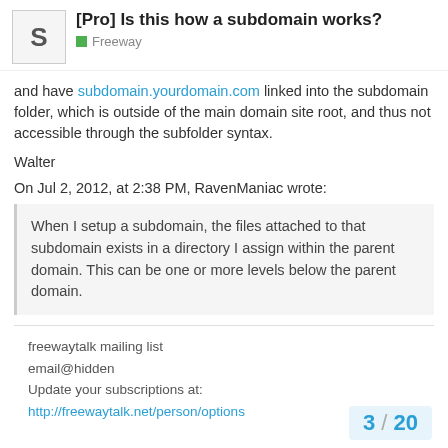[Pro] Is this how a subdomain works? — Freeway
and have subdomain.yourdomain.com linked into the subdomain folder, which is outside of the main domain site root, and thus not accessible through the subfolder syntax.
Walter
On Jul 2, 2012, at 2:38 PM, RavenManiac wrote:
When I setup a subdomain, the files attached to that subdomain exists in a directory I assign within the parent domain. This can be one or more levels below the parent domain.
freewaytalk mailing list
email@hidden
Update your subscriptions at:
http://freewaytalk.net/person/options
3 / 20